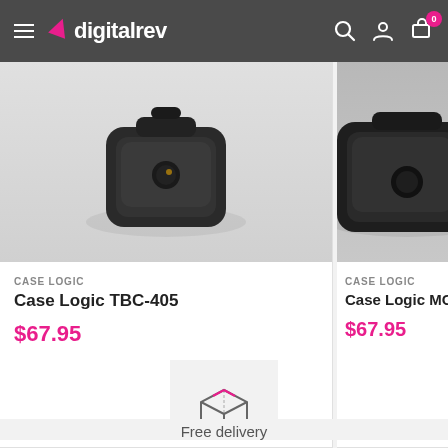[Figure (screenshot): Digitalrev e-commerce website header with hamburger menu, logo, search, account, and cart icons]
[Figure (photo): Case Logic TBC-405 camera bag product photo, dark colored bag]
CASE LOGIC
Case Logic TBC-405
$67.95
[Figure (photo): Case Logic MGC-101 camera bag product photo, dark colored bag, partially cut off]
CASE LOGIC
Case Logic MGC-10
$67.95
[Figure (illustration): Package/delivery box icon]
Free delivery